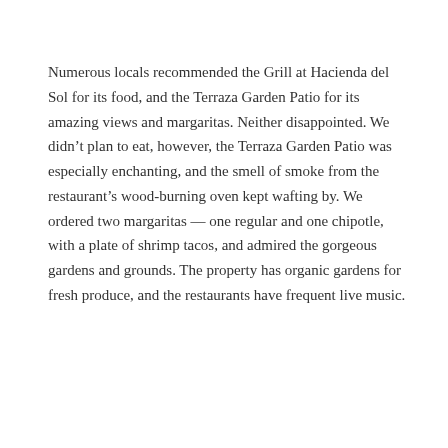Numerous locals recommended the Grill at Hacienda del Sol for its food, and the Terraza Garden Patio for its amazing views and margaritas. Neither disappointed. We didn't plan to eat, however, the Terraza Garden Patio was especially enchanting, and the smell of smoke from the restaurant's wood-burning oven kept wafting by. We ordered two margaritas — one regular and one chipotle, with a plate of shrimp tacos, and admired the gorgeous gardens and grounds. The property has organic gardens for fresh produce, and the restaurants have frequent live music.